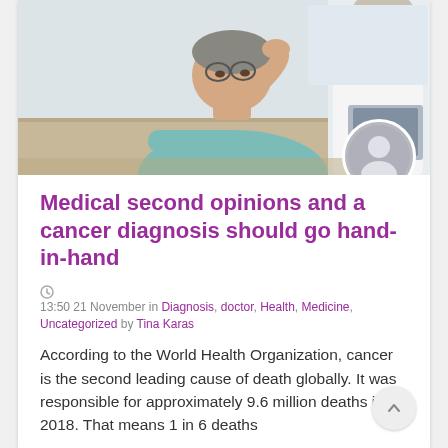[Figure (photo): A worried-looking middle-aged woman with glasses resting her hand on her forehead, sitting across from a doctor in a white coat. Medical consultation scene.]
Medical second opinions and a cancer diagnosis should go hand-in-hand
13:50 21 November in Diagnosis, doctor, Health, Medicine, Uncategorized by Tina Karas
According to the World Health Organization, cancer is the second leading cause of death globally. It was responsible for approximately 9.6 million deaths in 2018. That means 1 in 6 deaths